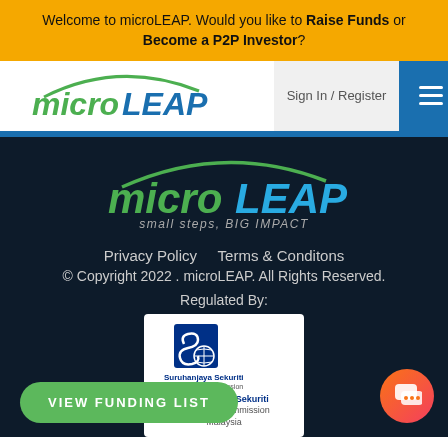Welcome to microLEAP. Would you like to Raise Funds or Become a P2P Investor?
[Figure (logo): microLEAP logo in navigation bar — 'micro' in green italic, 'LEAP' in blue bold, with green arc above]
Sign In / Register
[Figure (logo): microLEAP large footer logo — 'micro' in green italic, 'LEAP' in blue bold, green arc above, tagline 'small steps, BIG IMPACT']
Privacy Policy    Terms & Conditons
© Copyright 2022 . microLEAP. All Rights Reserved.
Regulated By:
[Figure (logo): Suruhanjaya Sekuriti — Securities Commission Malaysia logo in white box]
VIEW FUNDING LIST